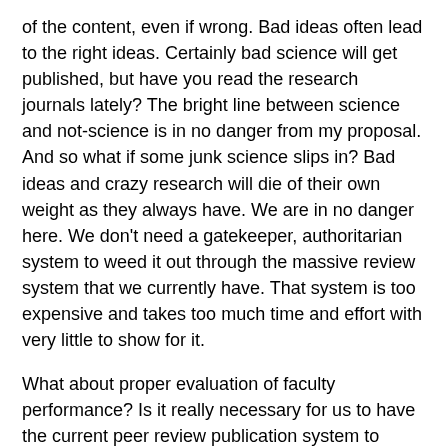of the content, even if wrong. Bad ideas often lead to the right ideas. Certainly bad science will get published, but have you read the research journals lately? The bright line between science and not-science is in no danger from my proposal. And so what if some junk science slips in? Bad ideas and crazy research will die of their own weight as they always have. We are in no danger here. We don't need a gatekeeper, authoritarian system to weed it out through the massive review system that we currently have. That system is too expensive and takes too much time and effort with very little to show for it.
What about proper evaluation of faculty performance? Is it really necessary for us to have the current peer review publication system to serve as a surrogate for the functioning of tenure and promotion committees? If we free up the escalating time spent reviewing articles for publication that we're not very interested in, we might actually have time to take a look at the publications of our fellow faculty members! That would be a good thing.
So, let's agree that my system or some modification will